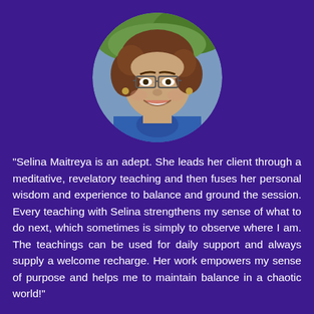[Figure (photo): Circular portrait photo of a woman with curly brown hair, glasses, and a blue top, smiling at the camera, set against a purple background.]
"Selina Maitreya is an adept. She leads her client through a meditative, revelatory teaching and then fuses her personal wisdom and experience to balance and ground the session. Every teaching with Selina strengthens my sense of what to do next, which sometimes is simply to observe where I am. The teachings can be used for daily support and always supply a welcome recharge. Her work empowers my sense of purpose and helps me to maintain balance in a chaotic world!"